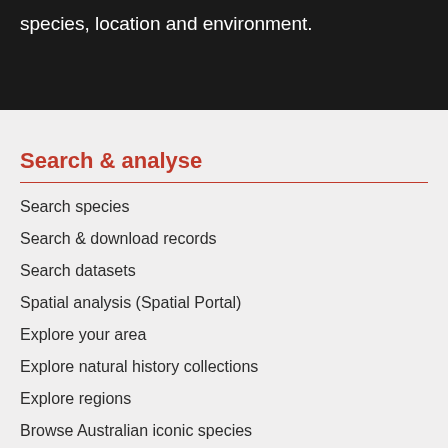species, location and environment.
Search & analyse
Search species
Search & download records
Search datasets
Spatial analysis (Spatial Portal)
Explore your area
Explore natural history collections
Explore regions
Browse Australian iconic species
Browse specimen images
Contribute